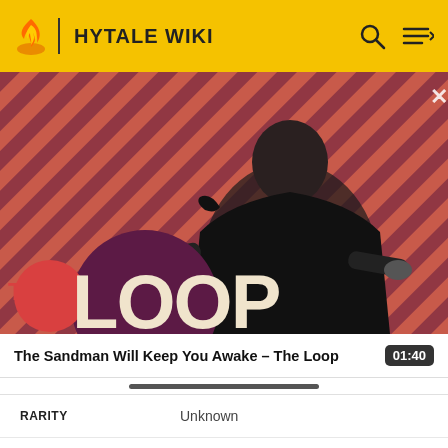HYTALE WIKI
[Figure (screenshot): The Loop promotional banner featuring a dark-dressed figure with a raven on their shoulder against a coral-red diagonal striped background. Bottom-left shows 'THE LOOP' text with a dark purple circle behind 'LOOP'.]
The Sandman Will Keep You Awake - The Loop  01:40
| Property | Value |
| --- | --- |
| RARITY | Unknown |
| DPS | Unknown |